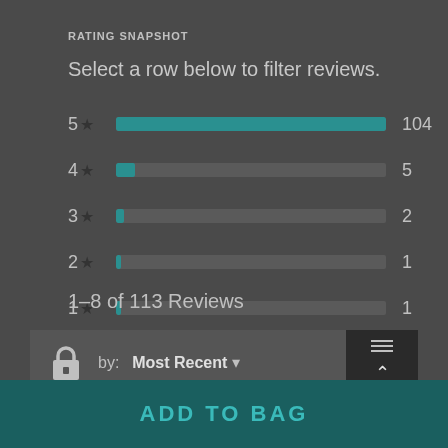RATING SNAPSHOT
Select a row below to filter reviews.
[Figure (bar-chart): Rating Snapshot]
1–8 of 113 Reviews
by: Most Recent ▾
ADD TO BAG